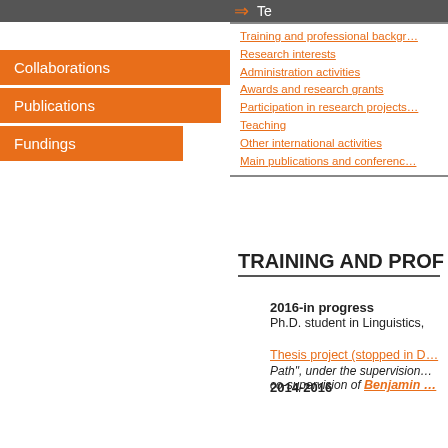Collaborations
Publications
Fundings
Training and professional background
Research interests
Administration activities
Awards and research grants
Participation in research projects
Teaching
Other international activities
Main publications and conferences
TRAINING AND PROF...
2016-in progress
Ph.D. student in Linguistics,
Thesis project (stopped in D... Path", under the supervision... co-supervision of Benjamin...
2014-2016